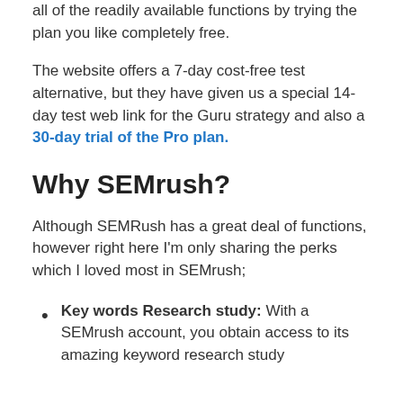all of the readily available functions by trying the plan you like completely free.
The website offers a 7-day cost-free test alternative, but they have given us a special 14-day test web link for the Guru strategy and also a 30-day trial of the Pro plan.
Why SEMrush?
Although SEMRush has a great deal of functions, however right here I'm only sharing the perks which I loved most in SEMrush;
Key words Research study: With a SEMrush account, you obtain access to its amazing keyword research study